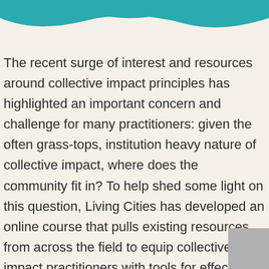[Figure (illustration): Teal decorative wave/curved shape at the top of the page]
The recent surge of interest and resources around collective impact principles has highlighted an important concern and challenge for many practitioners: given the often grass-tops, institution heavy nature of collective impact, where does the community fit in? To help shed some light on this question, Living Cities has developed an online course that pulls existing resources from across the field to equip collective impact practitioners with tools for effectively involving and working with community members. To participate in the e-course, which